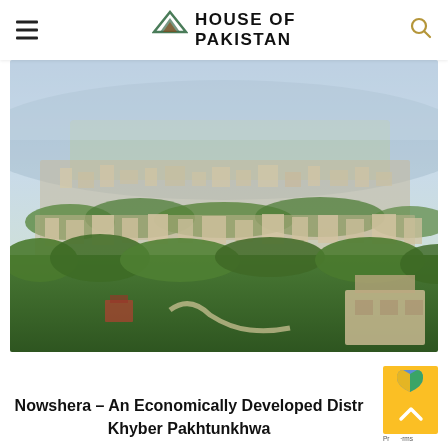HOUSE OF PAKISTAN
[Figure (photo): Aerial panoramic view of Nowshera city in Khyber Pakhtunkhwa, Pakistan, showing dense urban settlement surrounded by green vegetation and trees with hazy sky in background.]
Nowshera – An Economically Developed District of Khyber Pakhtunkhwa